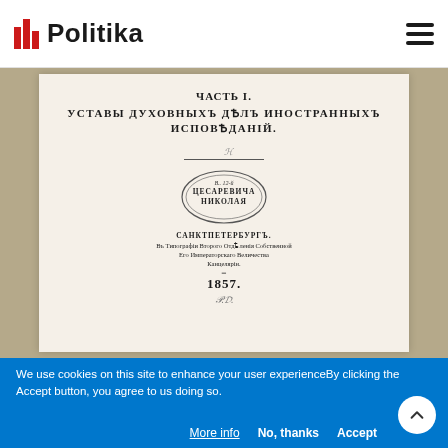Politika
[Figure (photo): Scanned page of a 19th century Russian book titled 'ЧАСТЬ I. УСТАВЫ ДУХОВНЫХЪ ДѢЛЪ ИНОСТРАННЫХЪ ИСПОВѢДАНІЙ.' with an oval library stamp reading 'ЦЕСАРЕВИЧА НИКОЛАЯ', published in САНКТПЕТЕРБУРГЪ, 1857, with handwritten signatures.]
We use cookies on this site to enhance your user experienceBy clicking the Accept button, you agree to us doing so.